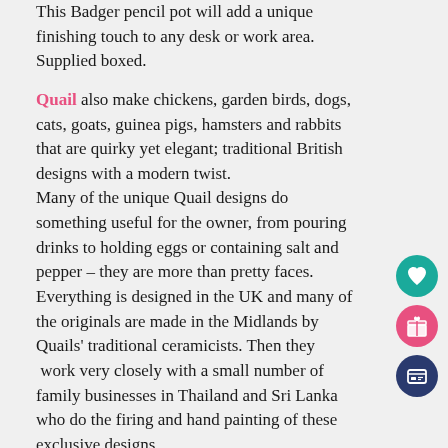This Badger pencil pot will add a unique finishing touch to any desk or work area.  Supplied boxed.
Quail also make chickens, garden birds, dogs, cats, goats, guinea pigs, hamsters and rabbits that are quirky yet elegant; traditional British designs with a modern twist.
Many of the unique Quail designs do something useful for the owner, from pouring drinks to holding eggs or containing salt and pepper – they are more than pretty faces.
Everything is designed in the UK and many of the originals are made in the Midlands by Quails' traditional ceramicists. Then they  work very closely with a small number of family businesses in Thailand and Sri Lanka who do the firing and hand painting of these exclusive designs.
Furthermore, Quail are able to devote an enormous amount of time to getting the detail right with their skilled craftspeople. Quail designs value and cherish
[Figure (infographic): Three circular icon buttons on the right side: a teal heart icon, a pink gift/present icon, and a dark blue credentials/card icon]